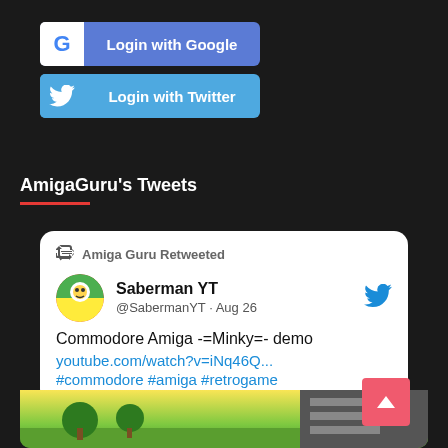[Figure (screenshot): Login with Google button - blue button with Google G icon and white text]
[Figure (screenshot): Login with Twitter button - light blue button with Twitter bird icon and white text]
AmigaGuru's Tweets
Amiga Guru Retweeted
Saberman YT @SabermanYT · Aug 26
Commodore Amiga -=Minky=- demo youtube.com/watch?v=iNq46Q... #commodore #amiga #retrogame
[Figure (screenshot): Video thumbnail image showing a colorful retro game scene with trees and characters]